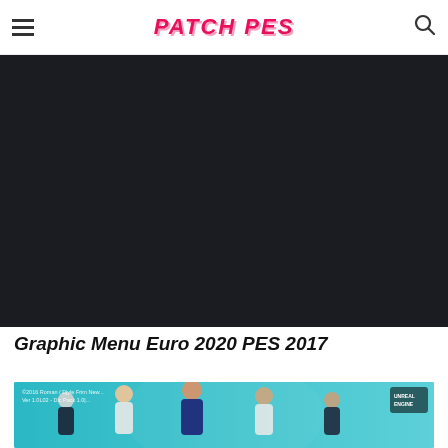PATCH PES
[Figure (other): Dark background advertisement or content placeholder area]
Graphic Menu Euro 2020 PES 2017
[Figure (photo): Football players on a teal Euro 2020 background with Unreal Engine logo]